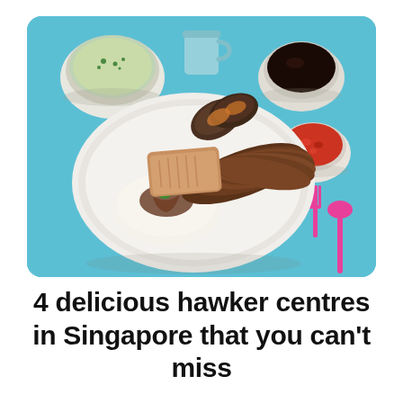[Figure (photo): A plate of Singaporean hawker food — rice topped with dark sauce and a sprig of parsley, sliced roasted meats arranged on a white oval plate, accompanied by bowls of soup, dark soy sauce, and chili sauce, plus a pink fork and spoon, all on a light blue background.]
4 delicious hawker centres in Singapore that you can't miss